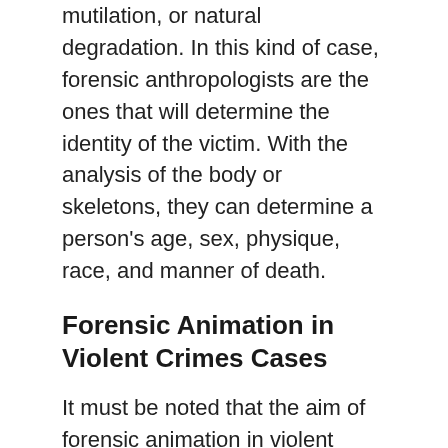mutilation, or natural degradation. In this kind of case, forensic anthropologists are the ones that will determine the identity of the victim. With the analysis of the body or skeletons, they can determine a person's age, sex, physique, race, and manner of death.
Forensic Animation in Violent Crimes Cases
It must be noted that the aim of forensic animation in violent crime cases is not to mortify the jury.
It is simply to give a reconstruction or a pictorial view of the facts of the case.
Certainly, the complexities that permeate the…